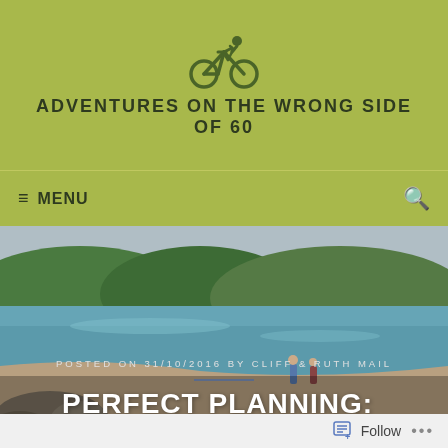[Figure (logo): Cyclist icon (person riding bicycle) in dark olive/green color]
ADVENTURES ON THE WRONG SIDE OF 60
≡ MENU
[Figure (photo): Beach scene with turquoise water, sandy shore, rocky outcrops, forested hills in background, two people walking on the beach, overcast sky]
POSTED ON 31/10/2016 BY CLIFF & RUTH MAIL
PERFECT PLANNING: ABEL TASMAN TRACK
Follow ...